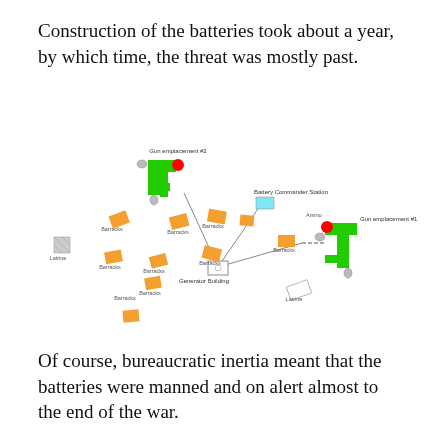Construction of the batteries took about a year, by which time, the threat was mostly past.
[Figure (schematic): Military battery layout diagram showing two gun emplacements (#1 and #2) with green L-shaped structures and red circles, connected by lines to a Battery Commander Station (cyan rectangle) and Generator Building. Multiple orange barracks buildings scattered around. Small grey structures labeled as latrines.]
Of course, bureaucratic inertia meant that the batteries were manned and on alert almost to the end of the war.